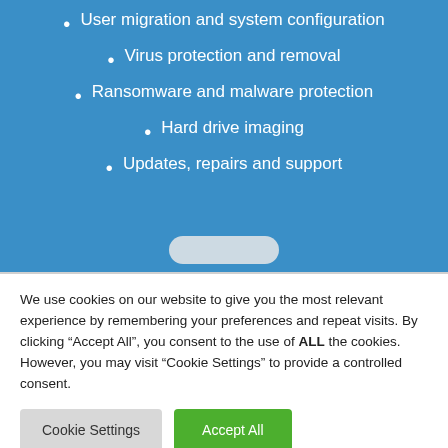User migration and system configuration
Virus protection and removal
Ransomware and malware protection
Hard drive imaging
Updates, repairs and support
We use cookies on our website to give you the most relevant experience by remembering your preferences and repeat visits. By clicking “Accept All”, you consent to the use of ALL the cookies. However, you may visit “Cookie Settings” to provide a controlled consent.